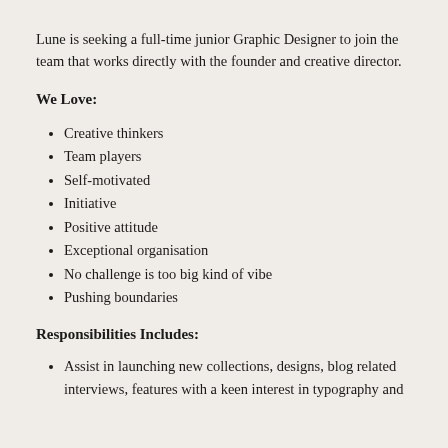Lune is seeking a full-time junior Graphic Designer to join the team that works directly with the founder and creative director.
We Love:
Creative thinkers
Team players
Self-motivated
Initiative
Positive attitude
Exceptional organisation
No challenge is too big kind of vibe
Pushing boundaries
Responsibilities Includes:
Assist in launching new collections, designs, blog related interviews, features with a keen interest in typography and